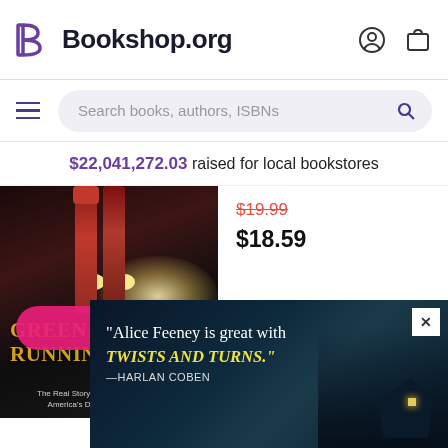Bookshop.org
Search books, authors, ISBNs
$22,041,272.03 raised for local bookstores
[Figure (photo): Book cover for 'Green River, Running Red: The Real Story of the Green River Killer—America's Deadliest Serial Murderer'. Dark cover showing legs in red stockings with car headlights in background.]
$19.99 (strikethrough) $18.59
[Figure (photo): Advertisement banner: 'Alice Feeney is great with TWISTS AND TURNS.' —HARLAN COBEN, with a dark atmospheric image of a house on a cliff]